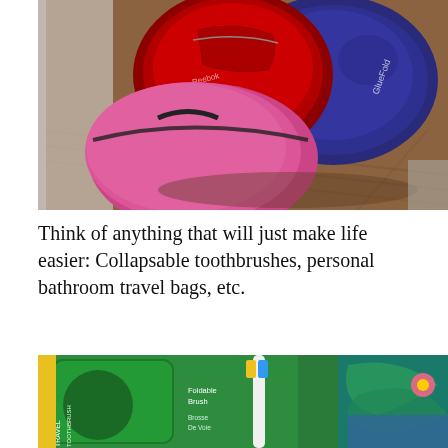[Figure (photo): Three colorful sports/duffel bags on a wooden floor: a pink bag in foreground left, a red bag in the center, and a blue bag on the right.]
Think of anything that will just make life easier: Collapsable toothbrushes, personal bathroom travel bags, etc.
[Figure (photo): Close-up photo of a green packaged travel toothbrush (foldable brush, Brosse De Voyage) next to a yellow and blue toothbrush, with tropical patterned items in the background.]